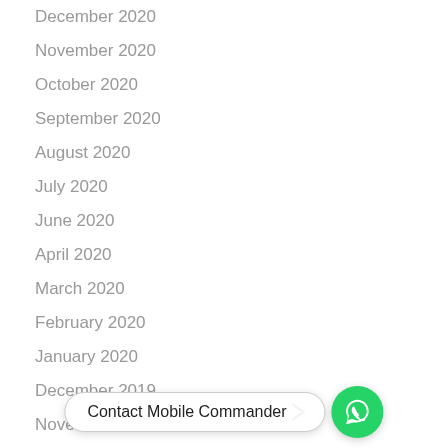December 2020
November 2020
October 2020
September 2020
August 2020
July 2020
June 2020
April 2020
March 2020
February 2020
January 2020
December 2019
November 2019
October 2019
September 2019
August 2019
July 2019
[Figure (other): WhatsApp contact button with label 'Contact Mobile Commander' and green WhatsApp phone icon circle]